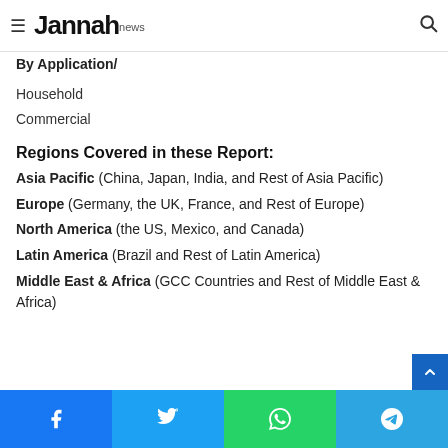Jannah news
By Application/
Household
Commercial
Regions Covered in these Report:
Asia Pacific (China, Japan, India, and Rest of Asia Pacific)
Europe (Germany, the UK, France, and Rest of Europe)
North America (the US, Mexico, and Canada)
Latin America (Brazil and Rest of Latin America)
Middle East & Africa (GCC Countries and Rest of Middle East & Africa)